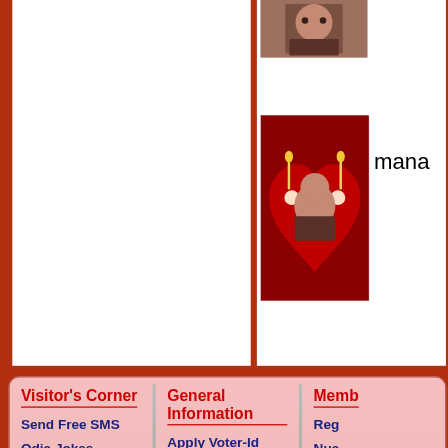[Figure (photo): Person photo in top right area]
[Figure (photo): Valentine heart themed photo frame with a man's image]
mana
Visitor's Corner
Send Free SMS
Odia Jokes
Odia Daily Horoscope
Odia Calendar-2022
Odia Yearly Horoscope
Ollywood Updates
Odia Recipes
Chhota Mora Gaan Ti
Odia Greetings Cards
Odia FM Radio
Odia Dhaga Dhamali
Odia FB Comments Pics
General Information
Apply Voter-Id Online
Check Aadhar Card Status
Apply Passport Online
Apply Pan Card Online
Check PF Balance Online
Odisha Exam Results 2022
Blood Banks in Odisha
Government of Odisha
Districts Of Odisha
PIN Codes of Odisha
Odia News Links
Odisha Yellow Pages
Odisha Rly Station Codes
Memb
Reg
Nua
Men
Pos
Pos
Sub
Org
Pos
Odi
Pos
Pos
Our
Com
|| Dis
All rights
Scroll